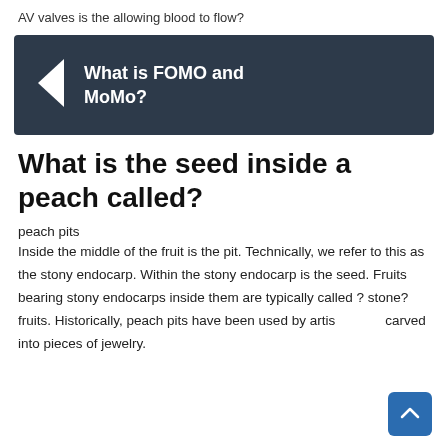AV valves is the allowing blood to flow?
[Figure (other): Dark navy banner with a left-pointing triangle arrow icon and bold white text reading 'What is FOMO and MoMo?']
What is the seed inside a peach called?
peach pits
Inside the middle of the fruit is the pit. Technically, we refer to this as the stony endocarp. Within the stony endocarp is the seed. Fruits bearing stony endocarps inside them are typically called ? stone? fruits. Historically, peach pits have been used by artists and carved into pieces of jewelry.